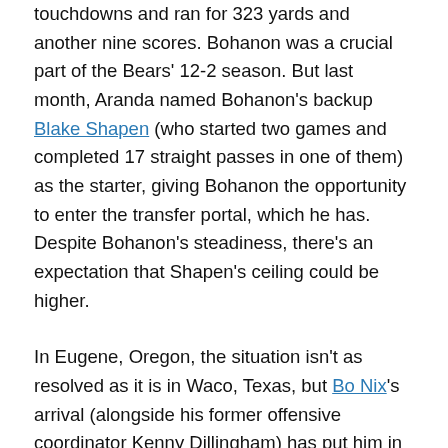touchdowns and ran for 323 yards and another nine scores. Bohanon was a crucial part of the Bears' 12-2 season. But last month, Aranda named Bohanon's backup Blake Shapen (who started two games and completed 17 straight passes in one of them) as the starter, giving Bohanon the opportunity to enter the transfer portal, which he has. Despite Bohanon's steadiness, there's an expectation that Shapen's ceiling could be higher.
In Eugene, Oregon, the situation isn't as resolved as it is in Waco, Texas, but Bo Nix's arrival (alongside his former offensive coordinator Kenny Dillingham) has put him in the driver's seat for the starting quarterback job. New head coach Dan Lanning hasn't made a formal decision for the Ducks, and Ty Thompson also has impressed plenty, but even as the competition will continue in fall camp, Nix looks primed to get the first crack at the job. Whether he'll